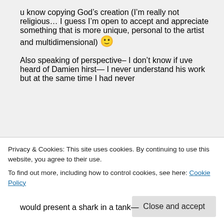u know copying God’s creation (I’m really not religious… I guess I’m open to accept and appreciate something that is more unique, personal to the artist and multidimensional) 🙂
Also speaking of perspective– I don’t know if uve heard of Damien hirst— I never understand his work but at the same time I had never
Privacy & Cookies: This site uses cookies. By continuing to use this website, you agree to their use.
To find out more, including how to control cookies, see here: Cookie Policy
would present a shark in a tank—